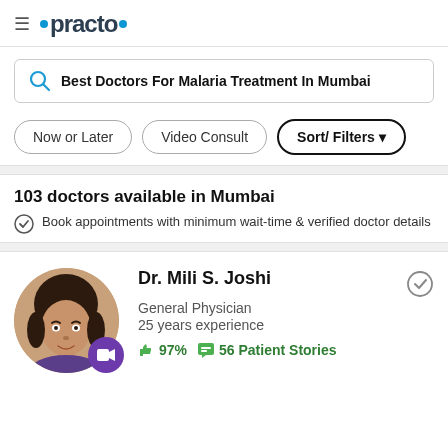practo
Best Doctors For Malaria Treatment In Mumbai
Now or Later
Video Consult
Sort/ Filters
103 doctors available in Mumbai
Book appointments with minimum wait-time & verified doctor details
Dr. Mili S. Joshi
General Physician
25 years experience
97% 56 Patient Stories